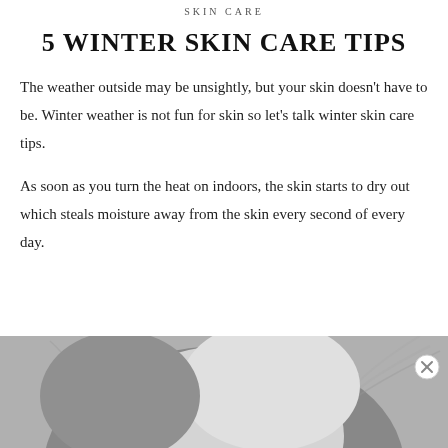SKIN CARE
5 WINTER SKIN CARE TIPS
The weather outside may be unsightly, but your skin doesn't have to be. Winter weather is not fun for skin so let's talk winter skin care tips.
As soon as you turn the heat on indoors, the skin starts to dry out which steals moisture away from the skin every second of every day.
[Figure (photo): Black and white close-up photo of a person's face/head, partially visible at the bottom of the page]